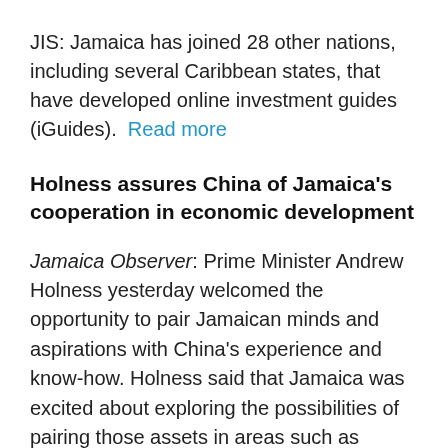JIS: Jamaica has joined 28 other nations, including several Caribbean states, that have developed online investment guides (iGuides). Read more
Holness assures China of Jamaica's cooperation in economic development
Jamaica Observer: Prime Minister Andrew Holness yesterday welcomed the opportunity to pair Jamaican minds and aspirations with China's experience and know-how. Holness said that Jamaica was excited about exploring the possibilities of pairing those assets in areas such as renewable energy, border security, agriculture, health care, and STEM education to achieve